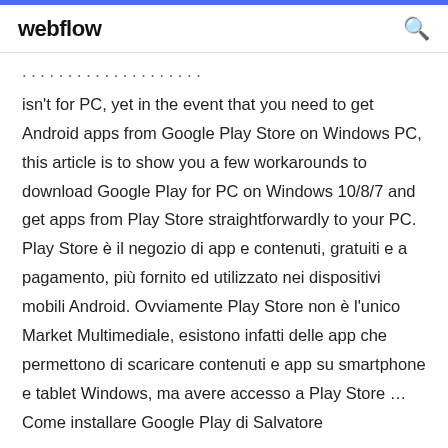webflow
isn't for PC, yet in the event that you need to get Android apps from Google Play Store on Windows PC, this article is to show you a few workarounds to download Google Play for PC on Windows 10/8/7 and get apps from Play Store straightforwardly to your PC. Play Store è il negozio di app e contenuti, gratuiti e a pagamento, più fornito ed utilizzato nei dispositivi mobili Android. Ovviamente Play Store non è l'unico Market Multimediale, esistono infatti delle app che permettono di scaricare contenuti e app su smartphone e tablet Windows, ma avere accesso a Play Store … Come installare Google Play di Salvatore